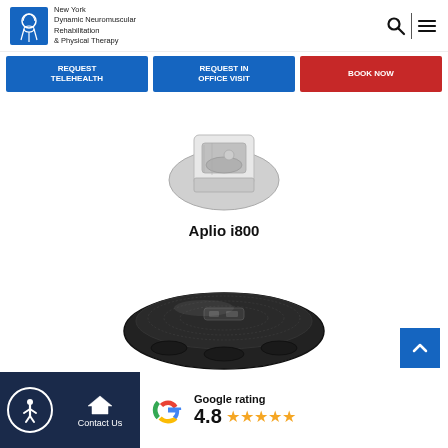New York Dynamic Neuromuscular Rehabilitation & Physical Therapy
REQUEST TELEHEALTH
REQUEST IN OFFICE VISIT
BOOK NOW
[Figure (photo): Aplio i800 ultrasound machine product photo]
Aplio i800
[Figure (photo): Vibration Platform product photo - black oval shaped device]
Vibration Platform
Google rating 4.8 ★★★★★
Contact Us